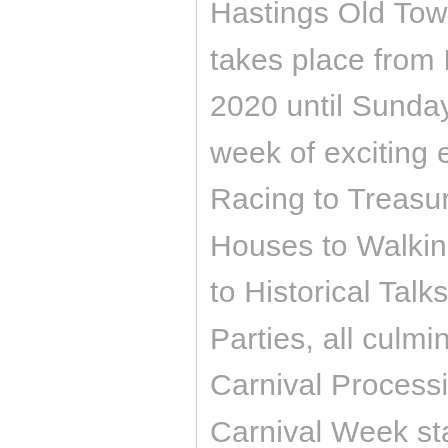Hastings Old Town Carnival Week takes place from Friday, 31st July 2020 until Sunday, 9th August 2020. A week of exciting events from Pram Racing to Treasure Trails, Open Houses to Walking Tours, Art Shows to Historical Talks, Live Music, Street Parties, all culminating in a Grand Carnival Procession Old Town Carnival Week started in 1968, gradually increasing in popularity until the present day. Organised by volunteers and supporting